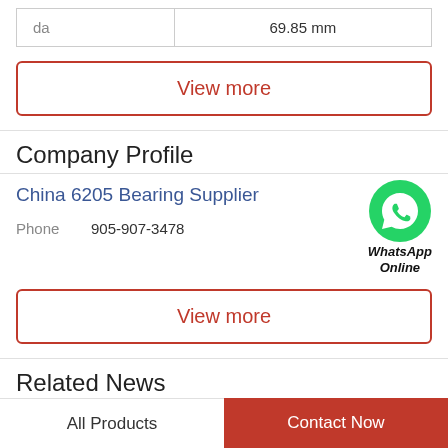|  |  |
| --- | --- |
| da | 69.85 mm |
View more
Company Profile
China 6205 Bearing Supplier
[Figure (logo): WhatsApp green phone icon with text WhatsApp Online]
Phone   905-907-3478
View more
Related News
All Products   Contact Now